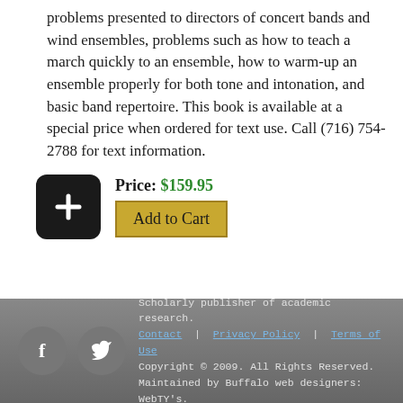problems presented to directors of concert bands and wind ensembles, problems such as how to teach a march quickly to an ensemble, how to warm-up an ensemble properly for both tone and intonation, and basic band repertoire. This book is available at a special price when ordered for text use. Call (716) 754-2788 for text information.
Price: $159.95
Add to Cart
Scholarly publisher of academic research. Contact | Privacy Policy | Terms of Use Copyright © 2009. All Rights Reserved. Maintained by Buffalo web designers: WebTY's.